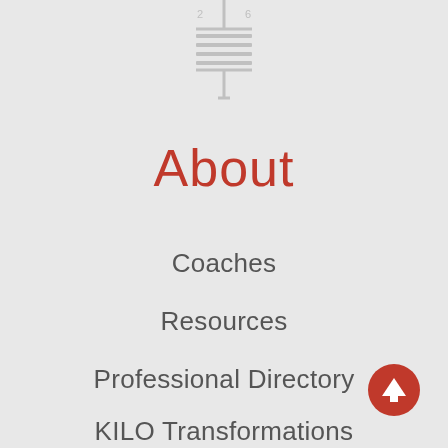[Figure (other): Hamburger menu icon (three horizontal lines with a vertical line through the middle), rendered in light gray]
About
Coaches
Resources
Professional Directory
KILO Transformations
[Figure (other): Red circular button with a white upward-pointing arrow, used as a scroll-to-top control]